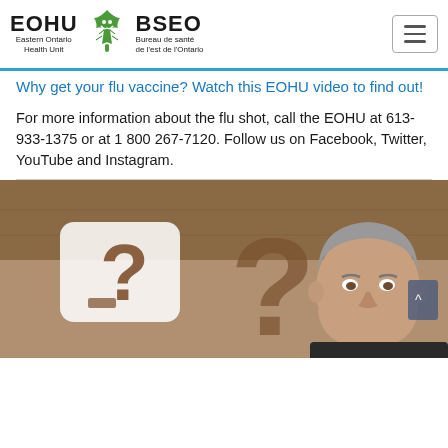[Figure (logo): EOHU / BSEO Eastern Ontario Health Unit / Bureau de santé de l'est de l'Ontario logo with green maple leaf icon, and hamburger menu button]
Why get your flu vaccine? Watch this EOHU video to find out!
For more information about the flu shot, call the EOHU at 613-933-1375 or at 1 800 267-7120. Follow us on Facebook, Twitter, YouTube and Instagram.
[Figure (photo): Video thumbnail showing a man smiling with question mark signs in the foreground, promoting an EOHU flu vaccine video]